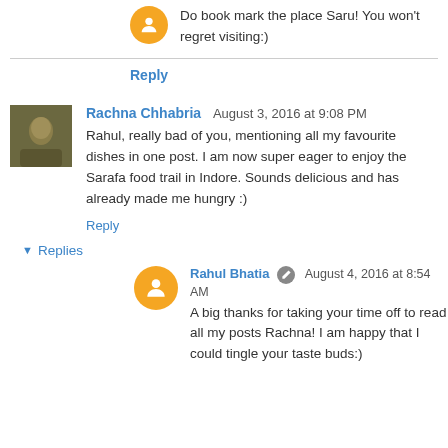Do book mark the place Saru! You won't regret visiting:)
Reply
Rachna Chhabria August 3, 2016 at 9:08 PM
Rahul, really bad of you, mentioning all my favourite dishes in one post. I am now super eager to enjoy the Sarafa food trail in Indore. Sounds delicious and has already made me hungry :)
Reply
Replies
Rahul Bhatia August 4, 2016 at 8:54 AM
A big thanks for taking your time off to read all my posts Rachna! I am happy that I could tingle your taste buds:)